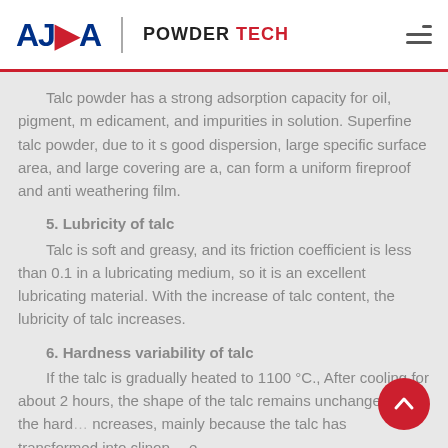ALPA POWDER TECH
Talc powder has a strong adsorption capacity for oil, pigment, medicament, and impurities in solution. Superfine talc powder, due to its good dispersion, large specific surface area, and large covering area, can form a uniform fireproof and anti weathering film.
5. Lubricity of talc
Talc is soft and greasy, and its friction coefficient is less than 0.1 in a lubricating medium, so it is an excellent lubricating material. With the increase of talc content, the lubricity of talc increases.
6. Hardness variability of talc
If the talc is gradually heated to 1100 °C., After cooling for about 2 hours, the shape of the talc remains unchanged, but the hardness increases, mainly because the talc has transformed into clinopyroxene.
7. Machinability of talc